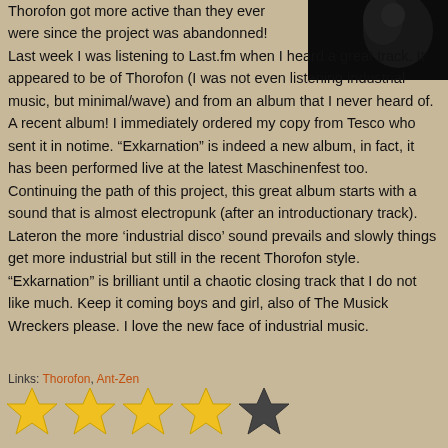[Figure (photo): Dark close-up photo in top-right corner, mostly black]
Thorofon got more active than they ever were since the project was abandonned! Last week I was listening to Last.fm when I heard a great track. It appeared to be of Thorofon (I was not even listening industrial music, but minimal/wave) and from an album that I never heard of. A recent album! I immediately ordered my copy from Tesco who sent it in notime. “Exkarnation” is indeed a new album, in fact, it has been performed live at the latest Maschinenfest too. Continuing the path of this project, this great album starts with a sound that is almost electropunk (after an introductionary track). Lateron the more ‘industrial disco’ sound prevails and slowly things get more industrial but still in the recent Thorofon style. “Exkarnation” is brilliant until a chaotic closing track that I do not like much. Keep it coming boys and girl, also of The Musick Wreckers please. I love the new face of industrial music.
Links: Thorofon, Ant-Zen
[Figure (infographic): 4 filled yellow stars and 1 dark/empty star rating]